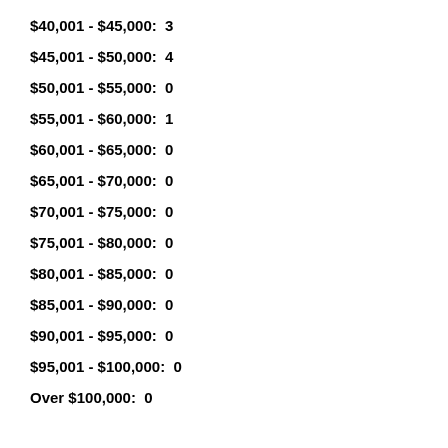$40,001 - $45,000:  3
$45,001 - $50,000:  4
$50,001 - $55,000:  0
$55,001 - $60,000:  1
$60,001 - $65,000:  0
$65,001 - $70,000:  0
$70,001 - $75,000:  0
$75,001 - $80,000:  0
$80,001 - $85,000:  0
$85,001 - $90,000:  0
$90,001 - $95,000:  0
$95,001 - $100,000:  0
Over $100,000:  0